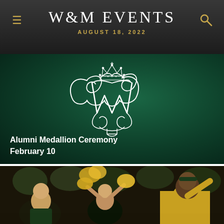W&M EVENTS
AUGUST 18, 2022
[Figure (illustration): W&M monogram logo (William & Mary royal cypher with crown) centered on dark green background, with text 'Alumni Medallion Ceremony February 10' in white bold at bottom left]
[Figure (photo): Photo of enthusiastic college students and cheerleaders celebrating at a W&M sports event, wearing green and gold]